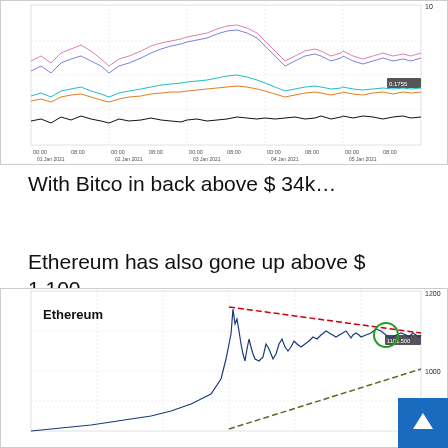[Figure (continuous-plot): Multi-line time series chart showing cryptocurrency price movements from 01 Jan 2021 to 05 Jan 2021, with multiple colored lines (black, pink, blue, cyan, orange). Y-axis shows values up to 10, right side label shows 0.1755. X-axis shows dates and times 00:00 and 08:00 for each day from 01 Jan 2021 to 05 Jan 2021.]
With Bitco in back above $ 34k…
Ethereum has also gone up above $ 1,100…
[Figure (continuous-plot): Ethereum price chart showing a rising price trend. The chart has a black line price series with a red dashed descending resistance line from top left to right, a green dashed ascending support line, and a green circle highlighting a breakout point near 1101.500. Y-axis labels show 1200, 1000, 900. Label 'Ethereum' appears in bold top-left.]